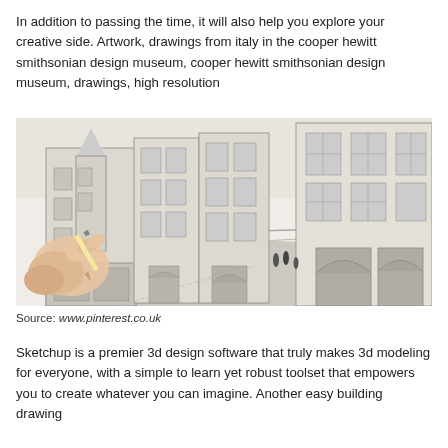In addition to passing the time, it will also help you explore your creative side. Artwork, drawings from italy in the cooper hewitt smithsonian design museum, cooper hewitt smithsonian design museum, drawings, high resolution
[Figure (illustration): Hand holding a pencil drawing a detailed pencil sketch of a European-style cobblestone street with tall multi-storey buildings, arched doorways, and pedestrians in the distance.]
Source: www.pinterest.co.uk
Sketchup is a premier 3d design software that truly makes 3d modeling for everyone, with a simple to learn yet robust toolset that empowers you to create whatever you can imagine. Another easy building drawing